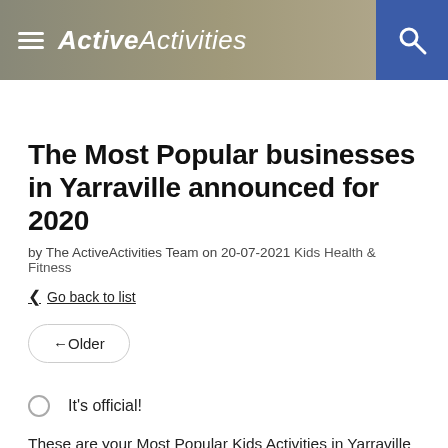ActiveActivities
The Most Popular businesses in Yarraville announced for 2020
by The ActiveActivities Team on 20-07-2021 Kids Health & Fitness
Go back to list
←Older
It's official!
These are your Most Popular Kids Activities in Yarraville for 2020.
Keep an eye out for the Top 25 Most Popular badge on listings in